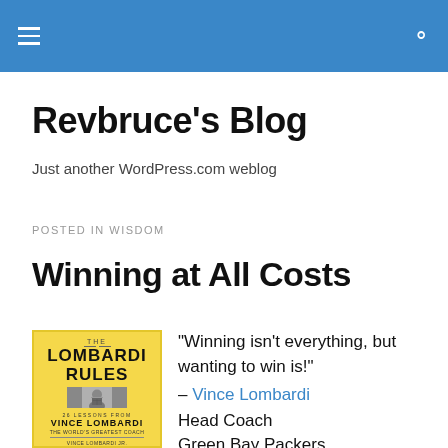Revbruce's Blog (navigation bar)
Revbruce's Blog
Just another WordPress.com weblog
POSTED IN WISDOM
Winning at All Costs
[Figure (photo): Book cover of 'The Lombardi Rules: 26 Lessons from Vince Lombardi The World's Greatest Coach' by Vince Lombardi Jr.]
“Winning isn’t everything, but wanting to win is!” – Vince Lombardi Head Coach Green Bay Packers